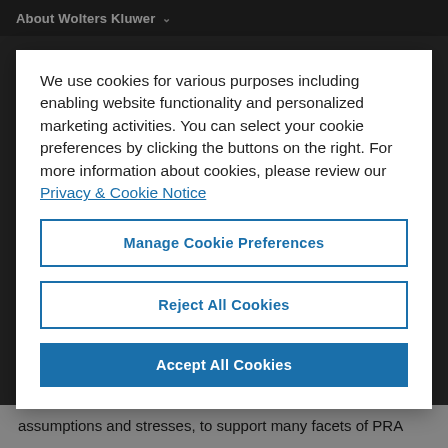About Wolters Kluwer
We use cookies for various purposes including enabling website functionality and personalized marketing activities. You can select your cookie preferences by clicking the buttons on the right. For more information about cookies, please review our Privacy & Cookie Notice
Manage Cookie Preferences
Reject All Cookies
Accept All Cookies
assumptions and stresses, to support many facets of PRA